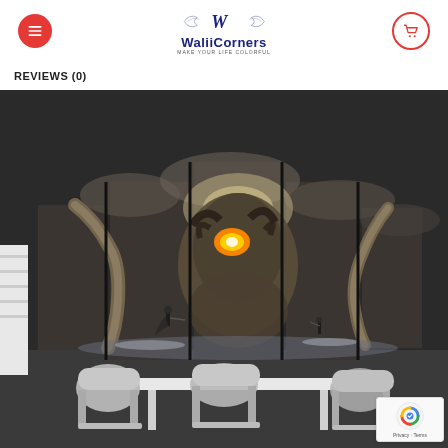WaliiCorners
REVIEWS (0)
[Figure (photo): A multi-panel wall art displayed on a dark wall in a room setting. The artwork depicts a fantasy battle scene: a small warrior facing a massive glowing-eyed monster creature with large curved horns/tusks, set against a stormy sky. The scene is split across 5 canvas panels of varying heights mounted on a dark wall, with a white table and grey chairs visible in the lower portion of the room.]